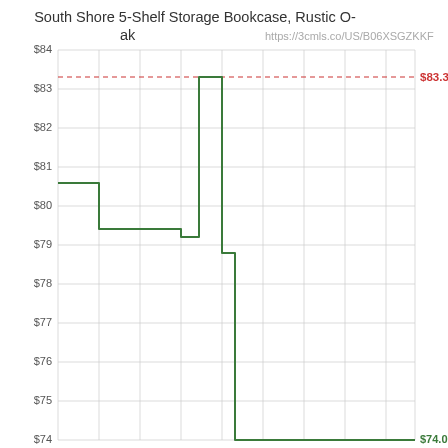[Figure (continuous-plot): Line chart showing price history for 'South Shore 5-Shelf Storage Bookcase, Rustic Oak'. The y-axis shows prices from $74 to $84. The line starts around $80.60, drops to ~$79.40, rises sharply to ~$83.30, then drops to ~$78.80, then falls steeply to ~$74.00. A dashed red horizontal reference line at $83.30 is labeled '$83.30'. The current/end price '$74.00' is labeled in green at the bottom right.]